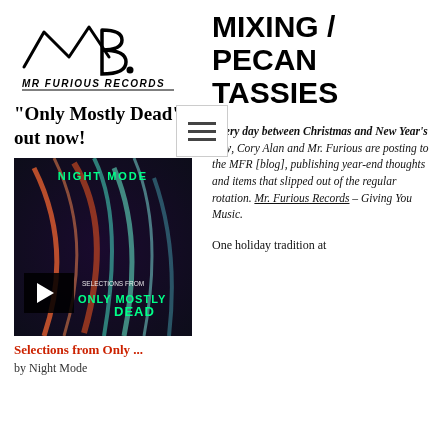[Figure (logo): Mr. Furious Records handwritten logo with stylized MB letters and text]
"Only Mostly Dead" out now!
[Figure (photo): Album art for 'Only Mostly Dead' by Night Mode showing colorful light streaks with play button overlay and text 'Selections from Only Mostly Dead']
Selections from Only ...
by Night Mode
MIXING / PECAN TASSIES
Every day between Christmas and New Year's Day, Cory Alan and Mr. Furious are posting to the MFR [blog], publishing year-end thoughts and items that slipped out of the regular rotation. Mr. Furious Records – Giving You Music.
One holiday tradition at